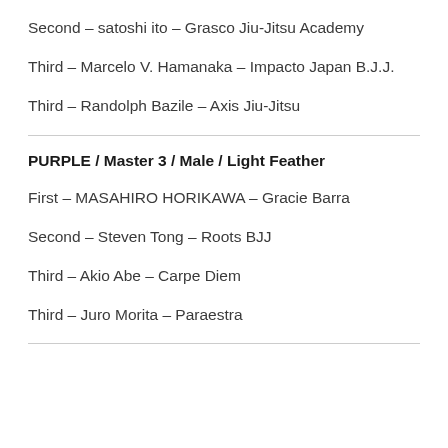Second – satoshi ito – Grasco Jiu-Jitsu Academy
Third – Marcelo V. Hamanaka – Impacto Japan B.J.J.
Third – Randolph Bazile – Axis Jiu-Jitsu
PURPLE / Master 3 / Male / Light Feather
First – MASAHIRO HORIKAWA – Gracie Barra
Second – Steven Tong – Roots BJJ
Third – Akio Abe – Carpe Diem
Third – Juro Morita – Paraestra